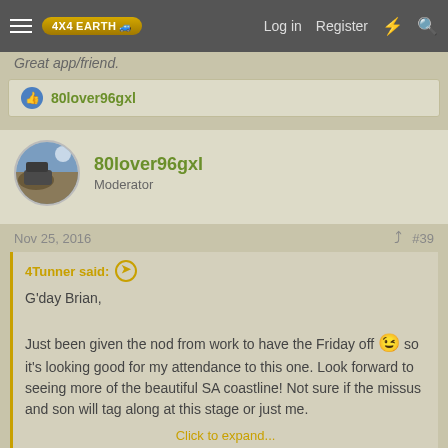4X4EARTH — Log in | Register
Great app/friend.
80lover96gxl
80lover96gxl
Moderator
Nov 25, 2016  #39
4Tunner said:
G'day Brian,
Just been given the nod from work to have the Friday off 😉 so it's looking good for my attendance to this one. Look forward to seeing more of the beautiful SA coastline! Not sure if the missus and son will tag along at this stage or just me.
Click to expand...
Great Alex, looking forward to doing some more driving with you